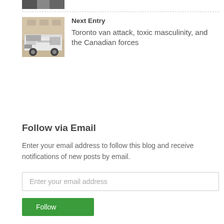[Figure (photo): Partially visible crashed white van image at top of page]
Next Entry
[Figure (photo): Photo of a crashed white van on a city street]
Toronto van attack, toxic masculinity, and the Canadian forces
Follow via Email
Enter your email address to follow this blog and receive notifications of new posts by email.
Enter your email address
Follow